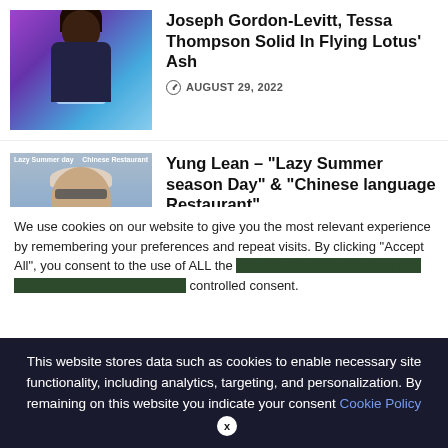[Figure (photo): Photo of a person with dreadlocks wearing a dark shirt and light blue scarf, with colorful background]
Joseph Gordon-Levitt, Tessa Thompson Solid In Flying Lotus’ Ash
AUGUST 29, 2022
[Figure (photo): Album cover or photo of Yung Lean with text 'Lazy Summer Day' and 'Chinese Restaurant' in top corners, person with short hair and sunglasses against ocean background]
Yung Lean – “Lazy Summer season Day” & “Chinese language Restaurant”
AUGUST 29, 2022
We use cookies on our website to give you the most relevant experience by remembering your preferences and repeat visits. By clicking “Accept All”, you consent to the use of ALL the controlled consent.
This website stores data such as cookies to enable necessary site functionality, including analytics, targeting, and personalization. By remaining on this website you indicate your consent Cookie Policy